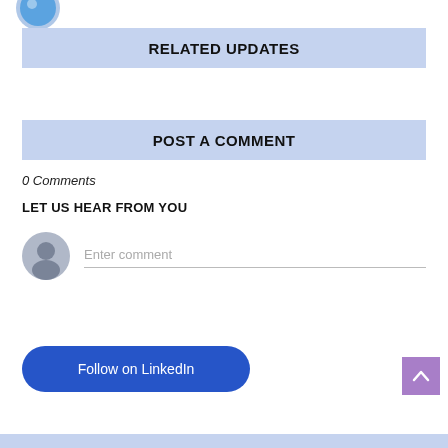[Figure (illustration): Partial avatar/profile icon visible at top left corner]
RELATED UPDATES
POST A COMMENT
0 Comments
LET US HEAR FROM YOU
[Figure (illustration): Grey user avatar circle icon for comment input]
Enter comment
Follow on LinkedIn
[Figure (illustration): Purple scroll-to-top button with upward chevron arrow]